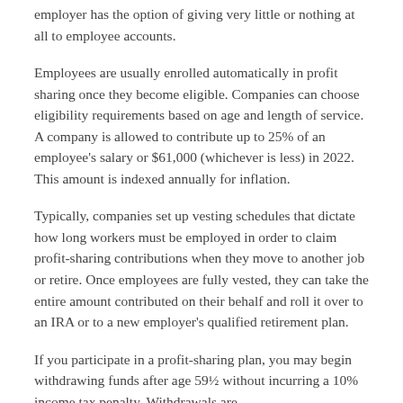employer has the option of giving very little or nothing at all to employee accounts.
Employees are usually enrolled automatically in profit sharing once they become eligible. Companies can choose eligibility requirements based on age and length of service. A company is allowed to contribute up to 25% of an employee's salary or $61,000 (whichever is less) in 2022. This amount is indexed annually for inflation.
Typically, companies set up vesting schedules that dictate how long workers must be employed in order to claim profit-sharing contributions when they move to another job or retire. Once employees are fully vested, they can take the entire amount contributed on their behalf and roll it over to an IRA or to a new employer's qualified retirement plan.
If you participate in a profit-sharing plan, you may begin withdrawing funds after age 59½ without incurring a 10% income tax penalty. Withdrawals are